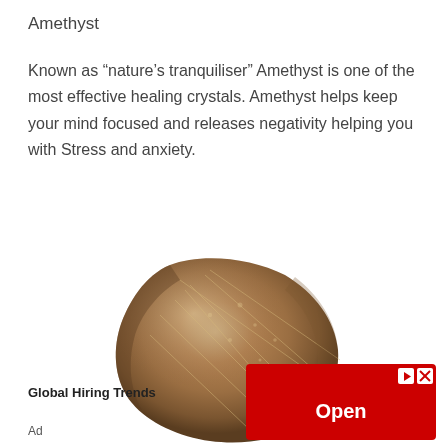Amethyst
Known as “nature’s tranquiliser” Amethyst is one of the most effective healing crystals. Amethyst helps keep your mind focused and releases negativity helping you with Stress and anxiety.
[Figure (photo): Photo of a rough amethyst crystal stone, brownish-purple in color with a smooth rounded shape]
Global Hiring Trends
Ad
[Figure (other): Red advertisement button with 'Open' text and play/close icons]